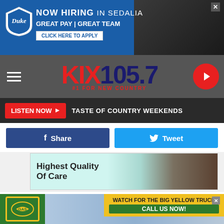[Figure (screenshot): Duke Energy advertisement banner: NOW HIRING IN SEDALIA, GREAT PAY | GREAT TEAM, CLICK HERE TO APPLY]
[Figure (logo): KIX 105.7 radio station logo with #1 FOR NEW COUNTRY tagline, navigation hamburger menu, and play button]
LISTEN NOW ▶  TASTE OF COUNTRY WEEKENDS
[Figure (screenshot): Facebook Share button and Twitter Tweet button side by side]
[Figure (photo): Advertisement showing Highest Quality Of Care with teal background and photo of care items]
At some point in your lifetime, you've most likely heard some of these sayings from your grandparents and then, there are some that we've never heard. Sometimes we just shook our heads and wondered what the heck they were talking about. See how many of these  you've heard and you
[Figure (screenshot): WATCH FOR THE BIG YELLOW TRUCK - CALL US NOW! advertisement with green logo and yellow truck]